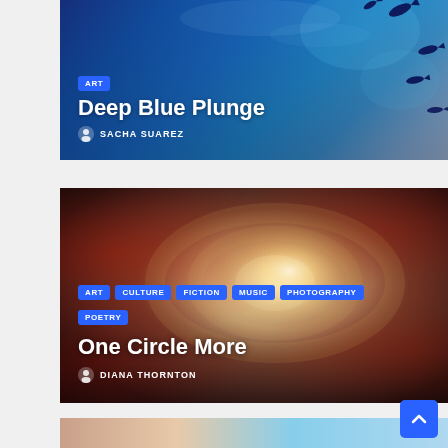[Figure (photo): Underwater ocean scene with blue water, floating particles and fish silhouettes — card image for 'Deep Blue Plunge']
ART — Deep Blue Plunge — SACHA SUAREZ
[Figure (photo): Spiral galaxy with golden core and red nebula regions — card image for 'One Circle More']
ART, CULTURE, FICTION, MUSIC, PHOTOGRAPHY, POETRY — One Circle More — DIANA THORNTON
[Figure (photo): Partial card at bottom showing a close-up portrait and outdoor wooden structure]
[Figure (infographic): Blue scroll-to-top button with upward chevron arrow]